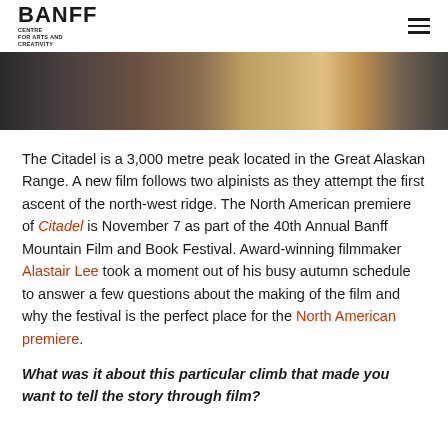BANFF CENTRE FOR ARTS AND CREATIVITY
[Figure (photo): A panoramic photo strip showing alpinists or mountain landscape in dark tones]
The Citadel is a 3,000 metre peak located in the Great Alaskan Range. A new film follows two alpinists as they attempt the first ascent of the north-west ridge. The North American premiere of Citadel is November 7 as part of the 40th Annual Banff Mountain Film and Book Festival. Award-winning filmmaker Alastair Lee took a moment out of his busy autumn schedule to answer a few questions about the making of the film and why the festival is the perfect place for the North American premiere.
What was it about this particular climb that made you want to tell the story through film?